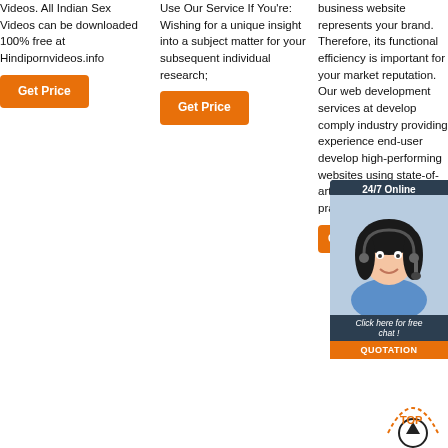Videos. All Indian Sex Videos can be downloaded 100% free at Hindipornvideos.info
Get Price
Use Our Service If You're: Wishing for a unique insight into a subject matter for your subsequent individual research;
Get Price
business website represents your brand. Therefore, its functional efficiency is important for your market reputation. Our web development services at develop comply industry providing experience end-user develop high-performing websites using state-of-art website development practices.
Get Price
[Figure (photo): Chat widget with woman customer service agent, 24/7 Online label, Click here for free chat!, QUOTATION button]